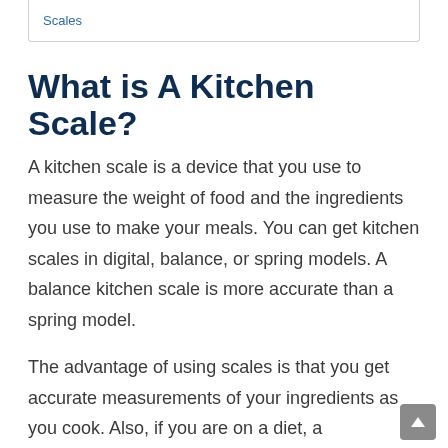Scales
What is A Kitchen Scale?
A kitchen scale is a device that you use to measure the weight of food and the ingredients you use to make your meals. You can get kitchen scales in digital, balance, or spring models. A balance kitchen scale is more accurate than a spring model.
The advantage of using scales is that you get accurate measurements of your ingredients as you cook. Also, if you are on a diet, a